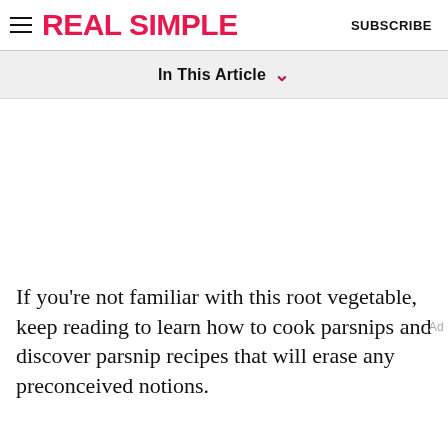REAL SIMPLE | SUBSCRIBE
In This Article
If you're not familiar with this root vegetable, keep reading to learn how to cook parsnips and discover parsnip recipes that will erase any preconceived notions.